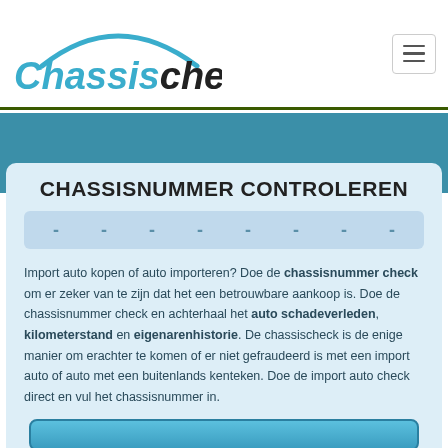[Figure (logo): ChassisCheck logo with teal arc/car roof shape above the text 'Chassischeck' in teal and black italic font]
CHASSISNUMMER CONTROLEREN
- - - - - - - - (VIN input fields separated by dashes)
Import auto kopen of auto importeren? Doe de chassisnummer check om er zeker van te zijn dat het een betrouwbare aankoop is. Doe de chassisnummer check en achterhaal het auto schadeverleden, kilometerstand en eigenarenhistorie. De chassischeck is de enige manier om erachter te komen of er niet gefraudeerd is met een import auto of auto met een buitenlands kenteken. Doe de import auto check direct en vul het chassisnummer in.